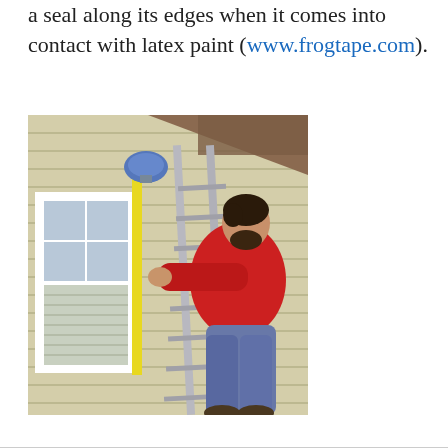a seal along its edges when it comes into contact with latex paint (www.frogtape.com).
[Figure (photo): A man in a red sweatshirt and jeans stands on an aluminum extension ladder leaning against the side of a house with beige horizontal siding. He is applying yellow painter's tape (FrogTape) to the white trim around a window. A blue light fixture is visible near the top of the ladder. The image shows exterior house painting preparation.]